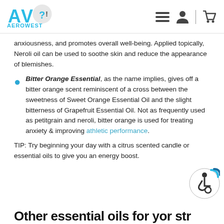AEROWEST
anxiousness, and promotes overall well-being. Applied topically, Neroli oil can be used to soothe skin and reduce the appearance of blemishes.
Bitter Orange Essential, as the name implies, gives off a bitter orange scent reminiscent of a cross between the sweetness of Sweet Orange Essential Oil and the slight bitterness of Grapefruit Essential Oil. Not as frequently used as petitgrain and neroli, bitter orange is used for treating anxiety & improving athletic performance.
TIP: Try beginning your day with a citrus scented candle or essential oils to give you an energy boost.
Other essential oils for yor str...